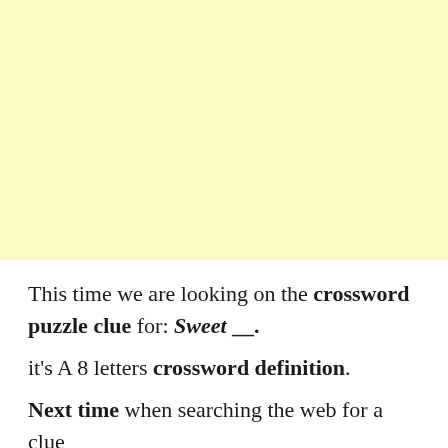[Figure (other): Large pale yellow rectangular block filling the upper portion of the page]
This time we are looking on the crossword puzzle clue for: Sweet __.
it's A 8 letters crossword definition.
Next time when searching the web for a clue